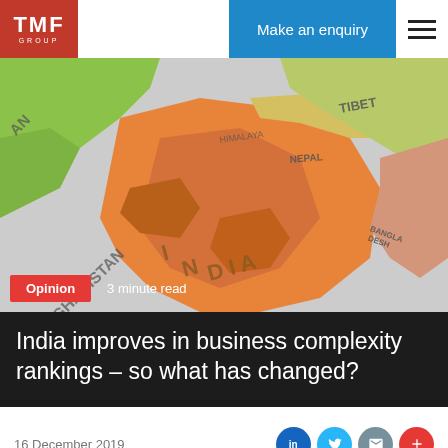TMF GROUP | Make an enquiry
[Figure (photo): Close-up photograph of a colorful political map showing India and surrounding regions including Tibet, Nepal, Afghanistan, and Bangladesh]
Opinion   3 minute read
India improves in business complexity rankings – so what has changed?
16 December 2019
India has taken significant steps to reduce the